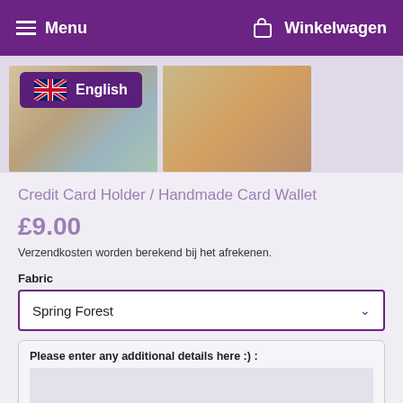Menu   Winkelwagen
[Figure (photo): Product images of handmade card wallets, with English language badge overlay]
Credit Card Holder / Handmade Card Wallet
£9.00
Verzendkosten worden berekend bij het afrekenen.
Fabric
Spring Forest
Please enter any additional details here :) :